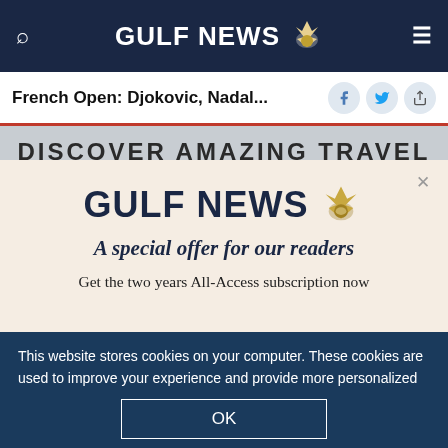GULF NEWS
French Open: Djokovic, Nadal...
[Figure (screenshot): Travel advertisement banner reading DISCOVER AMAZING TRAVEL]
GULF NEWS
A special offer for our readers
Get the two years All-Access subscription now
This website stores cookies on your computer. These cookies are used to improve your experience and provide more personalized service to you. Both on your website and other media. To find out more about the cookies and data we use, please check out our Privacy Policy.
OK